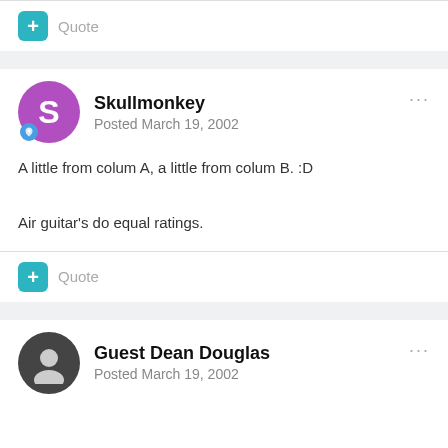+ Quote
Skullmonkey
Posted March 19, 2002
A little from colum A, a little from colum B. :D
Air guitar's do equal ratings.
+ Quote
Guest Dean Douglas
Posted March 19, 2002